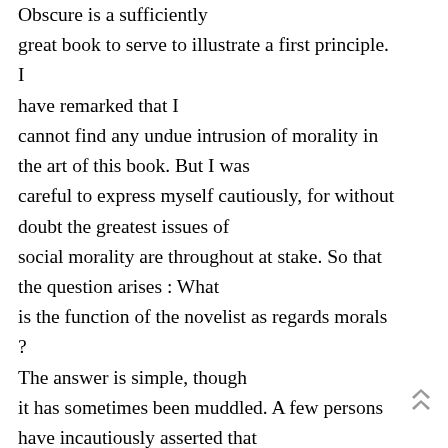Obscure is a sufficiently great book to serve to illustrate a first principle. I have remarked that I cannot find any undue intrusion of morality in the art of this book. But I was careful to express myself cautiously, for without doubt the greatest issues of social morality are throughout at stake. So that the question arises : What is the function of the novelist as regards morals ? The answer is simple, though it has sometimes been muddled. A few persons have incautiously asserted that the novel has nothing to do with morals. That we cannot assert ; the utmost that can be asserted is that the novelist should never allow himself to be made the tool of a merely moral or immoral purpose.